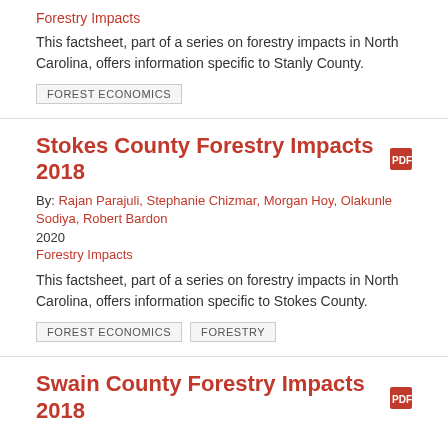Forestry Impacts
This factsheet, part of a series on forestry impacts in North Carolina, offers information specific to Stanly County.
FOREST ECONOMICS
Stokes County Forestry Impacts 2018
By: Rajan Parajuli, Stephanie Chizmar, Morgan Hoy, Olakunle Sodiya, Robert Bardon
2020
Forestry Impacts
This factsheet, part of a series on forestry impacts in North Carolina, offers information specific to Stokes County.
FOREST ECONOMICS
FORESTRY
Swain County Forestry Impacts 2018